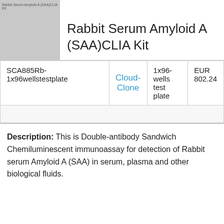[Figure (photo): Thumbnail image placeholder for Rabbit Serum Amyloid A (SAA)CLIA Kit product, shown as a gray box with small text overlay reading 'Rabbit Serum Amyloid A (SAA)CLIA Kit']
Rabbit Serum Amyloid A (SAA)CLIA Kit
|  |  |  |  |
| --- | --- | --- | --- |
| SCA885Rb-1x96wellstestplate | Cloud-Clone | 1x96-wells test plate | EUR 802.24 |
Description: This is Double-antibody Sandwich Chemiluminescent immunoassay for detection of Rabbit serum Amyloid A (SAA) in serum, plasma and other biological fluids.